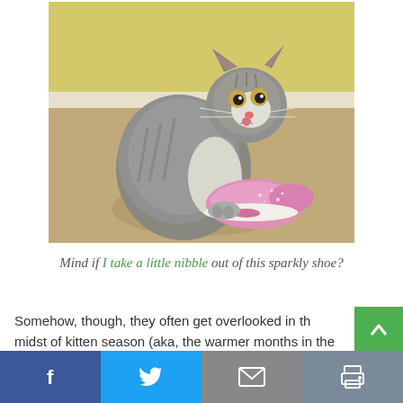[Figure (photo): A small grey and white tabby kitten sitting and looking back at the camera with its tongue slightly out, next to a pink glittery shoe on a beige carpet, with a yellow wall in the background.]
Mind if I take a little nibble out of this sparkly shoe?
Somehow, though, they often get overlooked in the midst of kitten season (aka, the warmer months in the
[Figure (other): Social sharing bar with Facebook, Twitter, Email, and Print buttons]